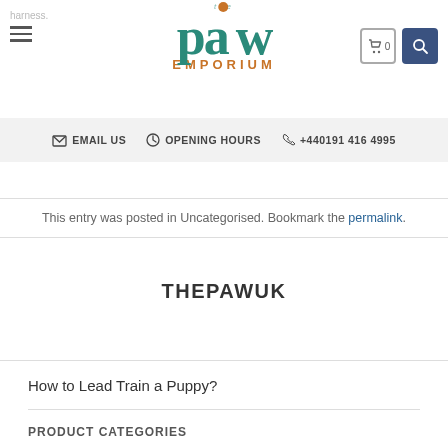The Paw Emporium — harness. ☰ | EMAIL US | OPENING HOURS | +440191 416 4995
This entry was posted in Uncategorised. Bookmark the permalink.
THEPAWUK
How to Lead Train a Puppy?
PRODUCT CATEGORIES